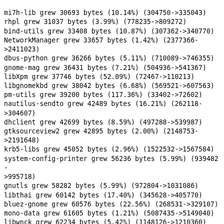mi7h-lib grew 30693 bytes (10.14%) (304750->335043)
rhpl grew 31037 bytes (3.99%) (778235->809272)
bind-utils grew 33408 bytes (10.87%) (307362->340770)
NetworkManager grew 33657 bytes (1.42%) (2377366->2411023)
dbus-python grew 36266 bytes (5.11%) (710089->746355)
gnome-mag grew 36431 bytes (7.21%) (504936->541367)
libXpm grew 37746 bytes (52.09%) (72467->110213)
libgnomekbd grew 38042 bytes (6.68%) (569521->607563)
pm-utils grew 39200 bytes (117.36%) (33402->72602)
nautilus-sendto grew 42489 bytes (16.21%) (262118->304607)
dhclient grew 42699 bytes (8.59%) (497288->539987)
gtksourceview2 grew 42895 bytes (2.00%) (2148753->2191648)
krb5-libs grew 45052 bytes (2.96%) (1522532->1567584)
system-config-printer grew 56236 bytes (5.99%) (939482->995718)
gnutls grew 58282 bytes (5.99%) (972804->1031086)
libthai grew 60142 bytes (17.40%) (345628->405770)
bluez-gnome grew 60576 bytes (22.56%) (268531->329107)
mono-data grew 61605 bytes (1.21%) (5087435->5149040)
libwnck grew 62234 bytes (5.42%) (1148126->1210360)
gtk2-engines grew 63679 bytes (6.09%) (1045391->1109070)
system-config-users grew 64047 bytes (4.40%) (1455495->1519542)
gnokii grew 68723 bytes (4.36%) (1575916->1644639)
rsync grew 73058 bytes (18.04%) (404896->477954)
hal-info grew 75029 bytes (20.94%) (358305->433334)
gcc-libGlU grew 77042 bytes (17.12%) (454429->533249)